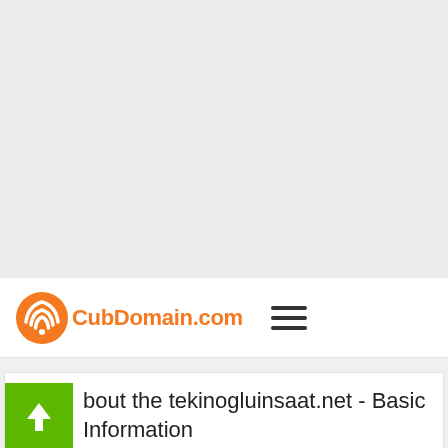[Figure (other): Large light gray empty area at the top of the page]
[Figure (logo): CubDomain.com logo with orange circular wifi-style icon and orange text, plus a hamburger menu icon to the right]
About the tekinogluinsaat.net - Basic Information